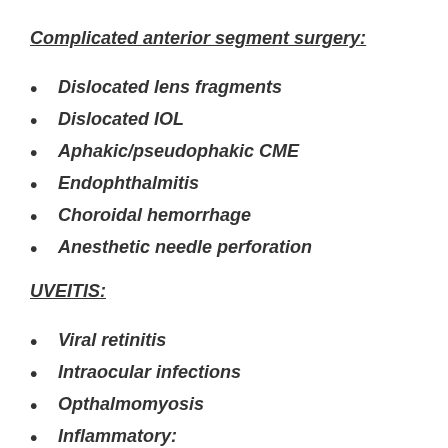Complicated anterior segment surgery:
Dislocated lens fragments
Dislocated IOL
Aphakic/pseudophakic CME
Endophthalmitis
Choroidal hemorrhage
Anesthetic needle perforation
UVEITIS:
Viral retinitis
Intraocular infections
Opthalmomyosis
Inflammatory: